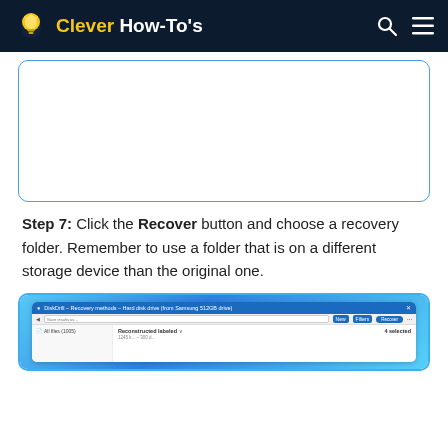Clever How-To's
[Figure (screenshot): White rounded rectangle placeholder image with blue border]
Step 7: Click the Recover button and choose a recovery folder. Remember to use a folder that is on a different storage device than the original one.
[Figure (screenshot): Screenshot of a Windows 11 file recovery application showing 'Reconstructed labeled' section with '4 selected' items]